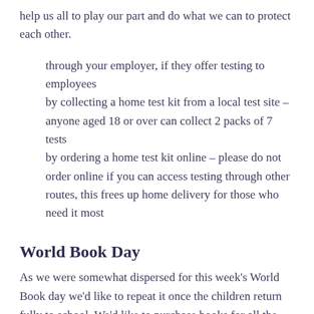help us all to play our part and do what we can to protect each other.
through your employer, if they offer testing to employees
by collecting a home test kit from a local test site – anyone aged 18 or over can collect 2 packs of 7 tests
by ordering a home test kit online – please do not order online if you can access testing through other routes, this frees up home delivery for those who need it most
World Book Day
As we were somewhat dispersed for this week's World Book day we'd like to repeat it once the children return fully to school. We'd like to purchase books for all the children so they can have something special to read on the day we choose. We don't want to have costumes this time, but really focus on immersing the children in texts, stories, drama and role play that day, alongside a chance for them to also unveil their new...